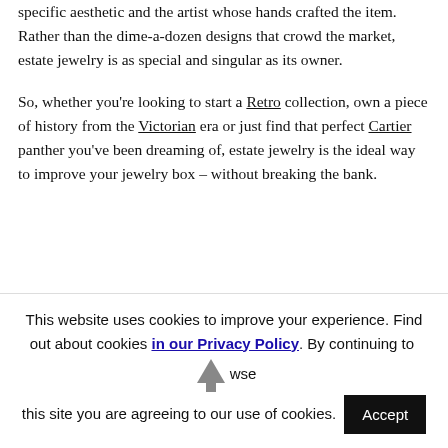specific aesthetic and the artist whose hands crafted the item. Rather than the dime-a-dozen designs that crowd the market, estate jewelry is as special and singular as its owner.
So, whether you're looking to start a Retro collection, own a piece of history from the Victorian era or just find that perfect Cartier panther you've been dreaming of, estate jewelry is the ideal way to improve your jewelry box – without breaking the bank.
RESOURCES
This website uses cookies to improve your experience. Find out about cookies in our Privacy Policy. By continuing to browse this site you are agreeing to our use of cookies. Accept